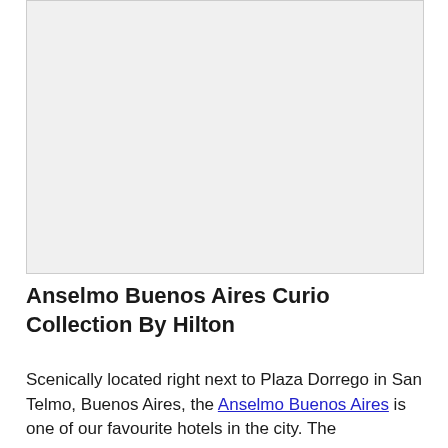[Figure (photo): Hotel or location photo placeholder — light gray rectangle]
Anselmo Buenos Aires Curio Collection By Hilton
Scenically located right next to Plaza Dorrego in San Telmo, Buenos Aires, the Anselmo Buenos Aires is one of our favourite hotels in the city. The